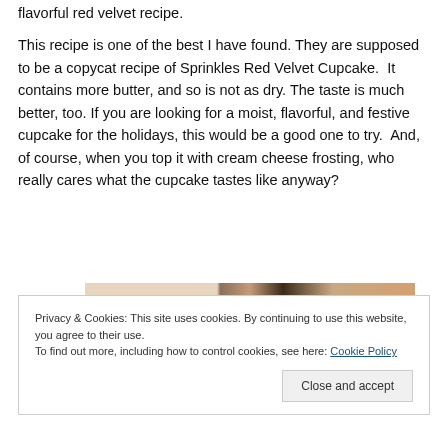flavorful red velvet recipe.
This recipe is one of the best I have found. They are supposed to be a copycat recipe of Sprinkles Red Velvet Cupcake.  It contains more butter, and so is not as dry. The taste is much better, too. If you are looking for a moist, flavorful, and festive cupcake for the holidays, this would be a good one to try.  And, of course, when you top it with cream cheese frosting, who really cares what the cupcake tastes like anyway?
[Figure (photo): Partial photo of hands, possibly holding or decorating a cupcake, with warm brown and cream tones]
Privacy & Cookies: This site uses cookies. By continuing to use this website, you agree to their use.
To find out more, including how to control cookies, see here: Cookie Policy
Close and accept